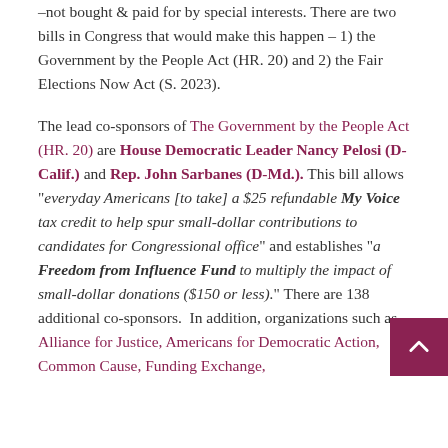–not bought & paid for by special interests. There are two bills in Congress that would make this happen – 1) the Government by the People Act (HR. 20) and 2) the Fair Elections Now Act (S. 2023).
The lead co-sponsors of The Government by the People Act (HR. 20) are House Democratic Leader Nancy Pelosi (D-Calif.) and Rep. John Sarbanes (D-Md.). This bill allows "everyday Americans [to take] a $25 refundable My Voice tax credit to help spur small-dollar contributions to candidates for Congressional office" and establishes "a Freedom from Influence Fund to multiply the impact of small-dollar donations ($150 or less)." There are 138 additional co-sponsors. In addition, organizations such as Alliance for Justice, Americans for Democratic Action, Common Cause, Funding Exchange,